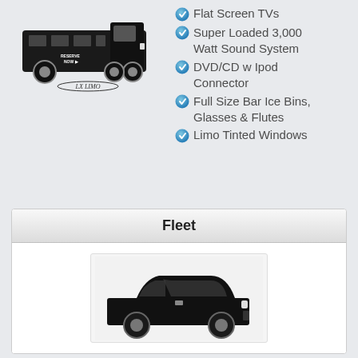[Figure (illustration): Black and white image of a large limousine party bus / stretched SUV limo truck with 'LX LIMO' label underneath and 'RESERVE NOW' arrow text on the side]
Flat Screen TVs
Super Loaded 3,000 Watt Sound System
DVD/CD w Ipod Connector
Full Size Bar Ice Bins, Glasses & Flutes
Limo Tinted Windows
Fleet
[Figure (photo): Photo of a black SUV / crossover vehicle viewed from the front-left angle, shown at the bottom of the Fleet section]